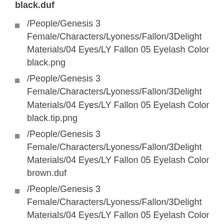/People/Genesis 3 Female/Characters/Lyoness/Fallon/3Delight Materials/04 Eyes/LY Fallon 05 Eyelash Color black.png
/People/Genesis 3 Female/Characters/Lyoness/Fallon/3Delight Materials/04 Eyes/LY Fallon 05 Eyelash Color black.tip.png
/People/Genesis 3 Female/Characters/Lyoness/Fallon/3Delight Materials/04 Eyes/LY Fallon 05 Eyelash Color brown.duf
/People/Genesis 3 Female/Characters/Lyoness/Fallon/3Delight Materials/04 Eyes/LY Fallon 05 Eyelash Color brown.png
/People/Genesis 3 Female/Characters/Lyoness/Fallon/3Delight Materials/04 Eyes/LY Fallon 05 Eyelash Color brown.tip.png